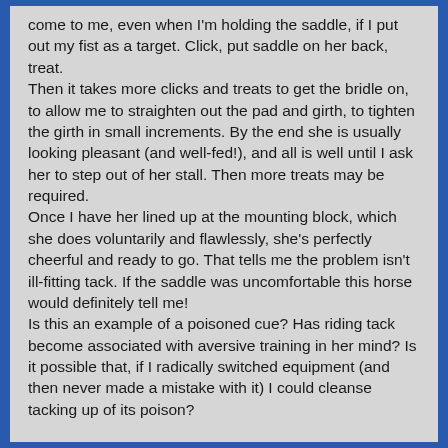come to me, even when I'm holding the saddle, if I put out my fist as a target. Click, put saddle on her back, treat.
Then it takes more clicks and treats to get the bridle on, to allow me to straighten out the pad and girth, to tighten the girth in small increments. By the end she is usually looking pleasant (and well-fed!), and all is well until I ask her to step out of her stall. Then more treats may be required.
Once I have her lined up at the mounting block, which she does voluntarily and flawlessly, she's perfectly cheerful and ready to go. That tells me the problem isn't ill-fitting tack. If the saddle was uncomfortable this horse would definitely tell me!
Is this an example of a poisoned cue? Has riding tack become associated with aversive training in her mind? Is it possible that, if I radically switched equipment (and then never made a mistake with it) I could cleanse tacking up of its poison?